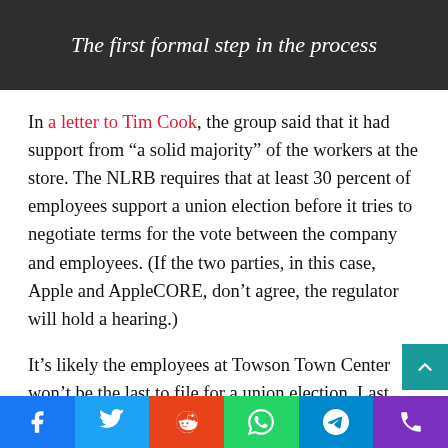The first formal step in the process
In a letter to Tim Cook, the group said that it had support from “a solid majority” of the workers at the store. The NLRB requires that at least 30 percent of employees support a union election before it tries to negotiate terms for the vote between the company and employees. (If the two parties, in this case, Apple and AppleCORE, don’t agree, the regulator will hold a hearing.)
It’s likely the employees at Towson Town Center won’t be the last to file for a union election. Last month, employees at Apple’s Grand Central Terminal store in New York began collecting signatures they can use to show interest in a vote to the NLRB.